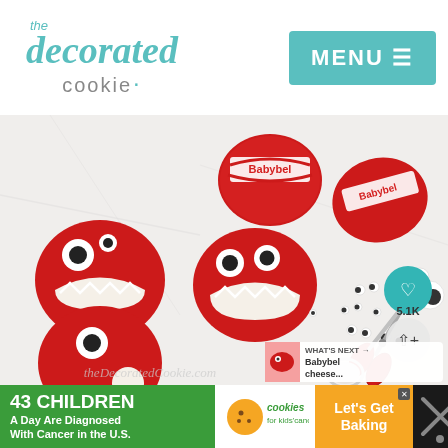[Figure (logo): The Decorated Cookie logo in teal/gray]
[Figure (photo): Babybel cheese rounds decorated as monsters with googly eyes, scissors, and loose googly eyes on white marble surface. Watermark: theDecoratedCookie.com. WHAT'S NEXT arrow with Babybel cheese thumbnail. Heart button with 5.1K likes and share button.]
43 CHILDREN A Day Are Diagnosed With Cancer in the U.S.
[Figure (logo): Cookies for kids' cancer logo]
Let's Get Baking